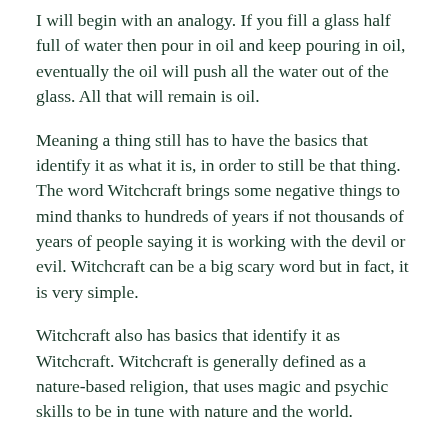I will begin with an analogy. If you fill a glass half full of water then pour in oil and keep pouring in oil, eventually the oil will push all the water out of the glass. All that will remain is oil.
Meaning a thing still has to have the basics that identify it as what it is, in order to still be that thing. The word Witchcraft brings some negative things to mind thanks to hundreds of years if not thousands of years of people saying it is working with the devil or evil. Witchcraft can be a big scary word but in fact, it is very simple.
Witchcraft also has basics that identify it as Witchcraft. Witchcraft is generally defined as a nature-based religion, that uses magic and psychic skills to be in tune with nature and the world.
A practitioner of the craft may invoke an element or God or Goddess or attend a ceremony or ritual that is magical